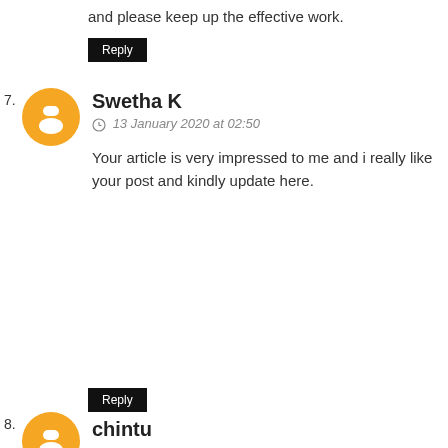and please keep up the effective work.
Reply
Swetha K
13 January 2020 at 02:50
Your article is very impressed to me and i really like your post and kindly update here.
Reply
chintu